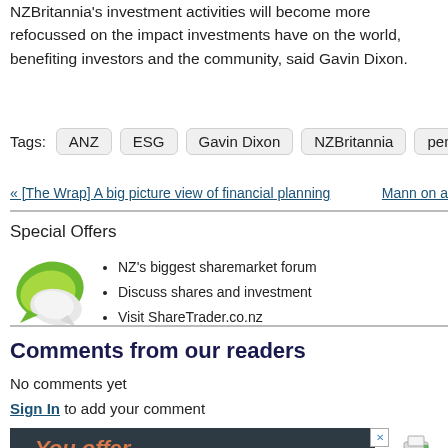NZBritannia's investment activities will become more refocussed on the impact investments have on the world, benefiting investors and the community, said Gavin Dixon.
Tags: ANZ ESG Gavin Dixon NZBritannia pension tr...
« [The Wrap] A big picture view of financial planning   Mann on a...
Special Offers
NZ's biggest sharemarket forum
Discuss shares and investment
Visit ShareTrader.co.nz
Comments from our readers
No comments yet
Sign In to add your comment
[Figure (screenshot): Advertisement banner with dark background showing 'You offer' text in orange]
Printable version